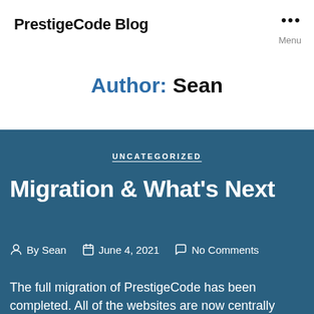PrestigeCode Blog
Author: Sean
UNCATEGORIZED
Migration & What's Next
By Sean   June 4, 2021   No Comments
The full migration of PrestigeCode has been completed. All of the websites are now centrally located on one server. As of writing this, I do have some leftover